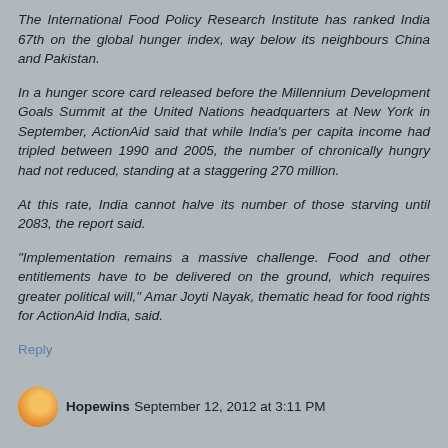The International Food Policy Research Institute has ranked India 67th on the global hunger index, way below its neighbours China and Pakistan.
In a hunger score card released before the Millennium Development Goals Summit at the United Nations headquarters at New York in September, ActionAid said that while India’s per capita income had tripled between 1990 and 2005, the number of chronically hungry had not reduced, standing at a staggering 270 million.
At this rate, India cannot halve its number of those starving until 2083, the report said.
“Implementation remains a massive challenge. Food and other entitlements have to be delivered on the ground, which requires greater political will,” Amar Joyti Nayak, thematic head for food rights for ActionAid India, said.
Reply
Hopewins  September 12, 2012 at 3:11 PM